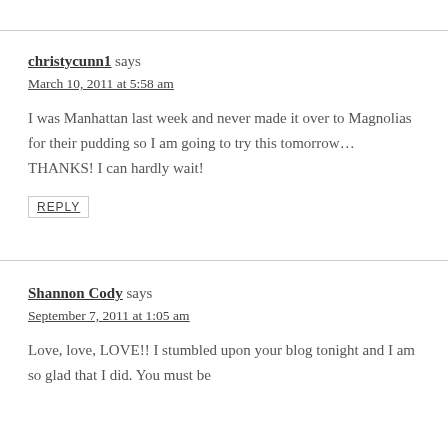christycunn1 says
March 10, 2011 at 5:58 am
I was Manhattan last week and never made it over to Magnolias for their pudding so I am going to try this tomorrow…THANKS! I can hardly wait!
REPLY
Shannon Cody says
September 7, 2011 at 1:05 am
Love, love, LOVE!! I stumbled upon your blog tonight and I am so glad that I did. You must be